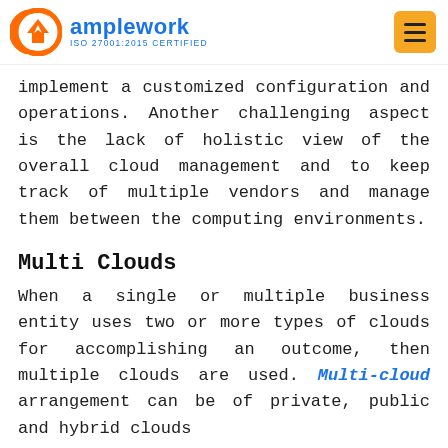amplework ISO 27001:2015 CERTIFIED
implement a customized configuration and operations. Another challenging aspect is the lack of holistic view of the overall cloud management and to keep track of multiple vendors and manage them between the computing environments.
Multi Clouds
When a single or multiple business entity uses two or more types of clouds for accomplishing an outcome, then multiple clouds are used. Multi-cloud arrangement can be of private, public and hybrid clouds